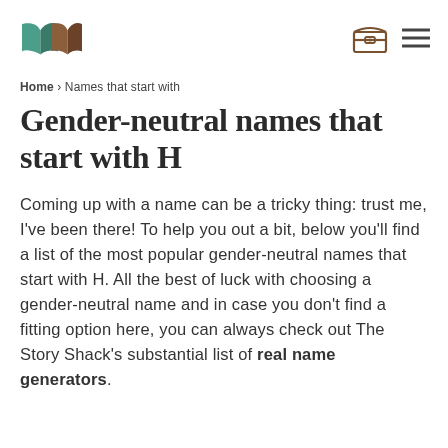The Story Shack logo, chest icon, menu icon
Home > Names that start with
Gender-neutral names that start with H
Coming up with a name can be a tricky thing: trust me, I've been there! To help you out a bit, below you'll find a list of the most popular gender-neutral names that start with H. All the best of luck with choosing a gender-neutral name and in case you don't find a fitting option here, you can always check out The Story Shack's substantial list of real name generators.